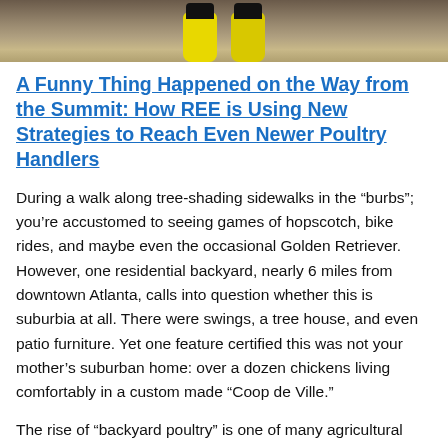[Figure (photo): Top strip of a photo showing yellow rubber boots / rain boots on a gravelly ground background, partially cropped at the top of the page.]
A Funny Thing Happened on the Way from the Summit: How REE is Using New Strategies to Reach Even Newer Poultry Handlers
During a walk along tree-shading sidewalks in the “burbs”; you’re accustomed to seeing games of hopscotch, bike rides, and maybe even the occasional Golden Retriever. However, one residential backyard, nearly 6 miles from downtown Atlanta, calls into question whether this is suburbia at all. There were swings, a tree house, and even patio furniture. Yet one feature certified this was not your mother’s suburban home: over a dozen chickens living comfortably in a custom made “Coop de Ville.”
The rise of “backyard poultry” is one of many agricultural phenomena tied to a growing food consciousness and increased urbanization. And while USDA’s fundamental job